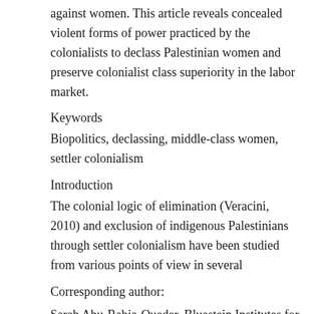against women. This article reveals concealed violent forms of power practiced by the colonialists to declass Palestinian women and preserve colonialist class superiority in the labor market.
Keywords
Biopolitics, declassing, middle-class women, settler colonialism
Introduction
The colonial logic of elimination (Veracini, 2010) and exclusion of indigenous Palestinians through settler colonialism have been studied from various points of view in several
Corresponding author:
Sarab Abu-Rabia-Queder, Bluastein Institutes for Desert